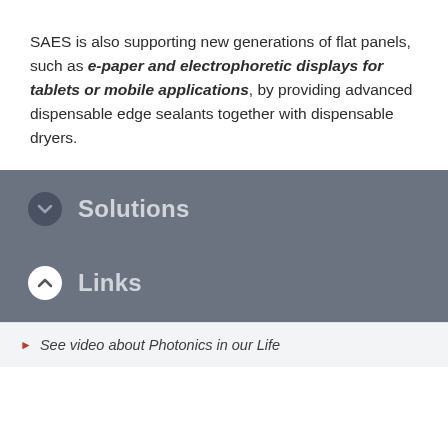SAES is also supporting new generations of flat panels, such as e-paper and electrophoretic displays for tablets or mobile applications, by providing advanced dispensable edge sealants together with dispensable dryers.
Solutions
Links
See video about Photonics in our Life